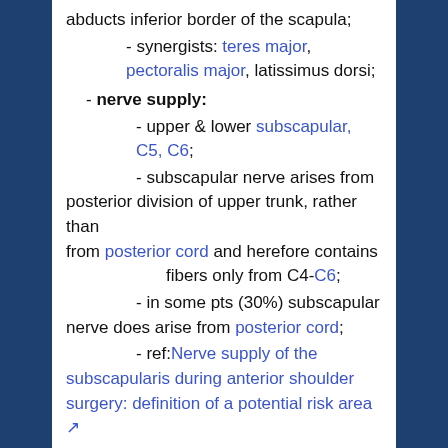abducts inferior border of the scapula;
- synergists: teres major, pectoralis major, latissimus dorsi;
- nerve supply:
- upper & lower subscapular, C5, C6;
- subscapular nerve arises from posterior division of upper trunk, rather than from posterior cord and herefore contains fibers only from C4-C6;
- in some pts (30%) subscapular nerve does arise from posterior cord;
- ref: Nerve supply of the subscapularis during anterior shoulder surgery: definition of a potential risk area
- exam: